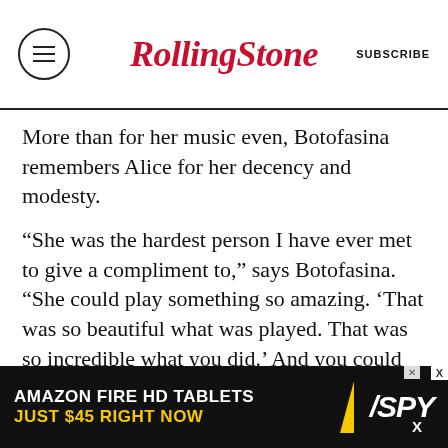RollingStone | SUBSCRIBE
More than for her music even, Botofasina remembers Alice for her decency and modesty.
“She was the hardest person I have ever met to give a compliment to,” says Botofasina. “She could play something so amazing. ‘That was so beautiful what was played. That was so incredible what you did.’ And you could say that to her and her response would be so quick to just basically say, ‘Oh, no, that was the lord. That wasn’t me.’ That I find very rare and inspiring.”
Santana understands Alice in a similar way. He sees her as having been on a mission to help people. Making music was merely her way of
[Figure (other): Advertisement banner for Amazon Fire HD Tablets - 'AMAZON FIRE HD TABLETS JUST $45 RIGHT NOW' with SPY logo]